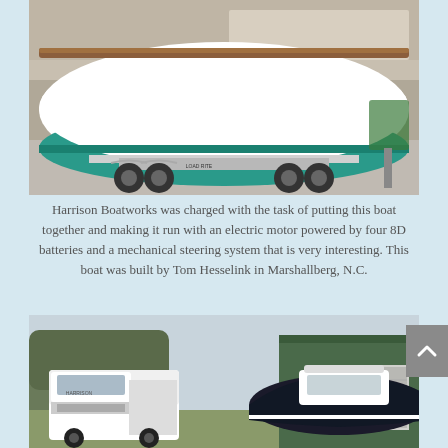[Figure (photo): A white sailboat hull with teal/green bottom paint sitting on a Load Rite trailer inside a building/warehouse. The boat has a wooden deck rail visible at the top.]
Harrison Boatworks was charged with the task of putting this boat together and making it run with an electric motor powered by four 8D batteries and a mechanical steering system that is very interesting. This boat was built by Tom Hesselink in Marshallberg, N.C.
[Figure (photo): A white commercial truck on the left and a dark-hulled motorboat with a white cabin/superstructure on a trailer on the right, parked outside near trees and a green metal building.]